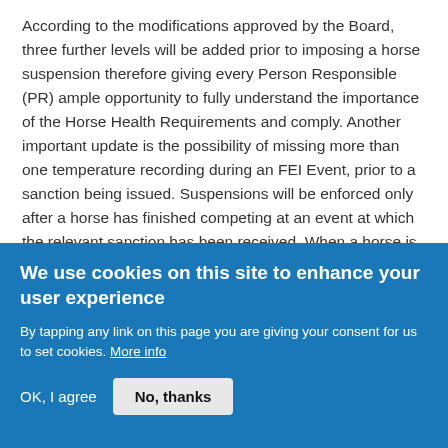According to the modifications approved by the Board, three further levels will be added prior to imposing a horse suspension therefore giving every Person Responsible (PR) ample opportunity to fully understand the importance of the Horse Health Requirements and comply. Another important update is the possibility of missing more than one temperature recording during an FEI Event, prior to a sanction being issued. Suspensions will be enforced only after a horse has finished competing at an event at which the relevant sanction has been received. When a horse is blocked or suspended, 10-day temperature recordings will no longer be required. "
Item A
We use cookies on this site to enhance your user experience
By tapping any link on this page you are giving your consent for us to set cookies. More info
OK, I agree
No, thanks